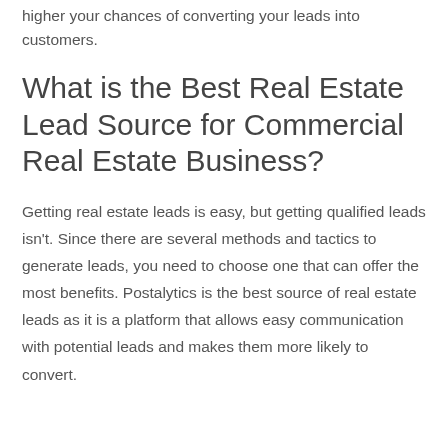higher your chances of converting your leads into customers.
What is the Best Real Estate Lead Source for Commercial Real Estate Business?
Getting real estate leads is easy, but getting qualified leads isn't. Since there are several methods and tactics to generate leads, you need to choose one that can offer the most benefits. Postalytics is the best source of real estate leads as it is a platform that allows easy communication with potential leads and makes them more likely to convert.